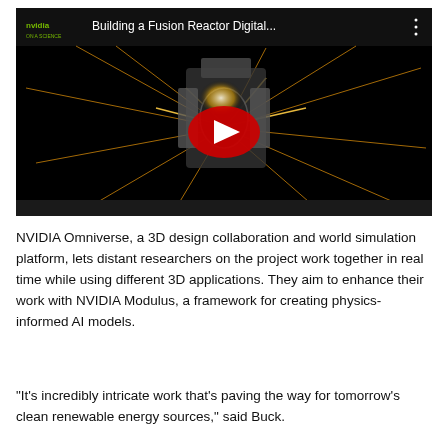[Figure (screenshot): YouTube video thumbnail showing NVIDIA Omniverse fusion reactor digital twin simulation with sparks and machinery on a black background. Title reads 'Building a Fusion Reactor Digital...' with NVIDIA logo and YouTube play button.]
NVIDIA Omniverse, a 3D design collaboration and world simulation platform, lets distant researchers on the project work together in real time while using different 3D applications. They aim to enhance their work with NVIDIA Modulus, a framework for creating physics-informed AI models.
“It’s incredibly intricate work that’s paving the way for tomorrow’s clean renewable energy sources,” said Buck.